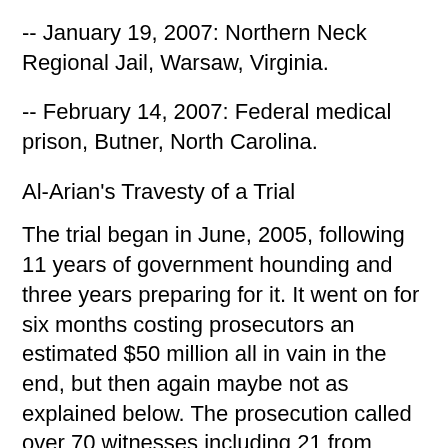-- January 19, 2007: Northern Neck Regional Jail, Warsaw, Virginia.
-- February 14, 2007: Federal medical prison, Butner, North Carolina.
Al-Arian's Travesty of a Trial
The trial began in June, 2005, following 11 years of government hounding and three years preparing for it. It went on for six months costing prosecutors an estimated $50 million all in vain in the end, but then again maybe not as explained below. The prosecution called over 70 witnesses including 21 from Israel. It used portions of hundreds of phone calls selected from over a half million recorded from over a decade of harassing surveillance as well as claimed evidence from intercepted faxes, emails and what was seized from hours of intrusively searching the Al-Arian home. It also used phony evidence from Al-Arian's activist speeches; lectures; conferences, events and rallies he attended; articles he